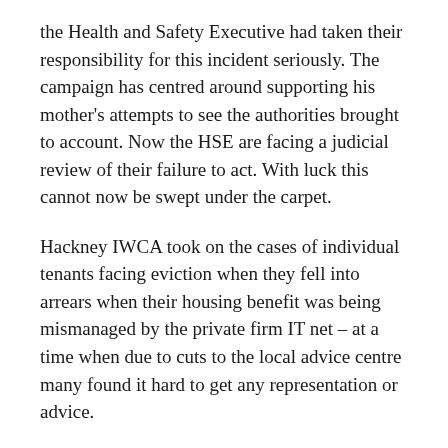the Health and Safety Executive had taken their responsibility for this incident seriously. The campaign has centred around supporting his mother's attempts to see the authorities brought to account. Now the HSE are facing a judicial review of their failure to act. With luck this cannot now be swept under the carpet.
Hackney IWCA took on the cases of individual tenants facing eviction when they fell into arrears when their housing benefit was being mismanaged by the private firm IT net – at a time when due to cuts to the local advice centre many found it hard to get any representation or advice.
More happily Hackney IWCA organise shows in tenant's halls for children. Inspired by Blackburn Leys children's film club, these have been well attended. The solemn and Harry Potter and his love floated the said...